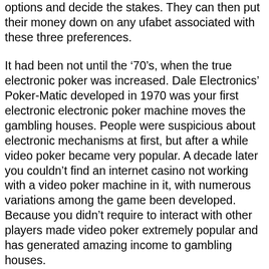options and decide the stakes. They can then put their money down on any ufabet associated with these three preferences.
It had been not until the ‘70’s, when the true electronic poker was increased. Dale Electronics’ Poker-Matic developed in 1970 was your first electronic electronic poker machine moves the gambling houses. People were suspicious about electronic mechanisms at first, but after a while video poker became very popular. A decade later you couldn’t find an internet casino not working with a video poker machine in it, with numerous variations among the game been developed. Because you didn’t require to interact with other players made video poker extremely popular and has generated amazing income to gambling houses.